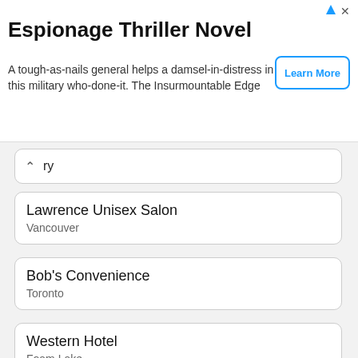[Figure (screenshot): Advertisement banner for 'Espionage Thriller Novel' with 'Learn More' button]
Espionage Thriller Novel
A tough-as-nails general helps a damsel-in-distress in this military who-done-it. The Insurmountable Edge
Lawrence Unisex Salon
Vancouver
Bob's Convenience
Toronto
Western Hotel
Foam Lake
Old School Diner
Vegreville
Evanston Barber Shop